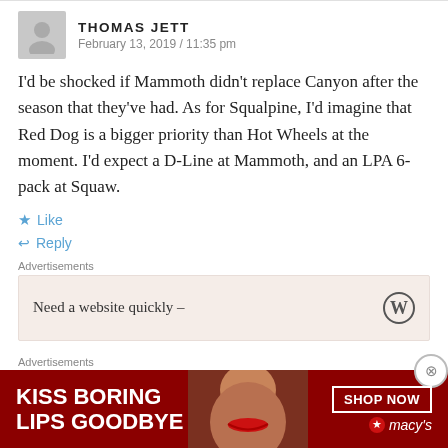THOMAS JETT
February 13, 2019 / 11:35 pm
I'd be shocked if Mammoth didn't replace Canyon after the season that they've had. As for Squalpine, I'd imagine that Red Dog is a bigger priority than Hot Wheels at the moment. I'd expect a D-Line at Mammoth, and an LPA 6-pack at Squaw.
Like
Reply
Advertisements
Need a website quickly –
Advertisements
[Figure (infographic): Macy's advertisement banner: KISS BORING LIPS GOODBYE with SHOP NOW button and Macy's star logo on dark red background]